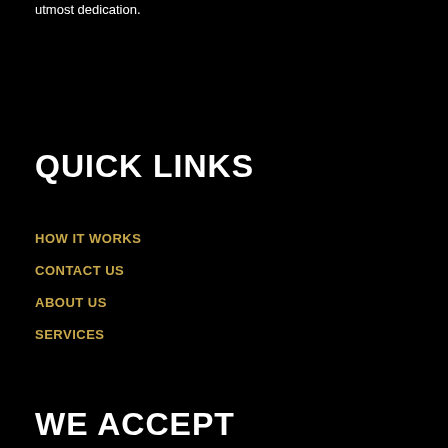utmost dedication.
QUICK LINKS
HOW IT WORKS
CONTACT US
ABOUT US
SERVICES
WE ACCEPT